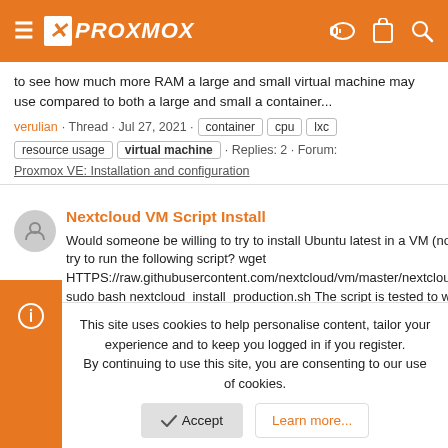Proxmox
to see how much more RAM a large and small virtual machine may use compared to both a large and small a container...
verulian · Thread · Jul 27, 2021 · container cpu lxc resource usage virtual machine · Replies: 2 · Forum: Proxmox VE: Installation and configuration
Nextcloud VM Script Install
Would someone be willing to try to install Ubuntu latest in a VM (no special options) and try to run the following script? wget HTTPS://raw.githubusercontent.com/nextcloud/vm/master/nextcloud_install_production.sh sudo bash nextcloud_install_production.sh The script is tested to work in
This site uses cookies to help personalise content, tailor your experience and to keep you logged in if you register.
By continuing to use this site, you are consenting to our use of cookies.